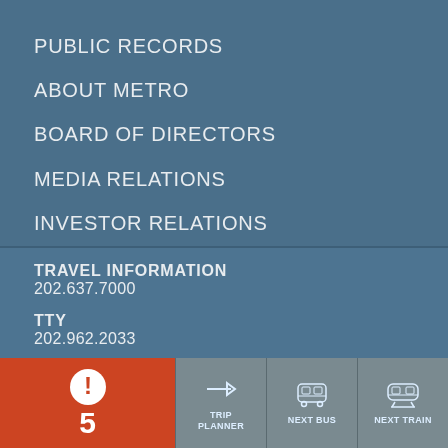PUBLIC RECORDS
ABOUT METRO
BOARD OF DIRECTORS
MEDIA RELATIONS
INVESTOR RELATIONS
TRAVEL INFORMATION
202.637.7000
TTY
202.962.2033
TRANSIT POLICE
202.962.2121
TEXT:
MYMTPD
[Figure (infographic): Bottom navigation bar with alert count (5), Trip Planner, Next Bus, Next Train tabs]